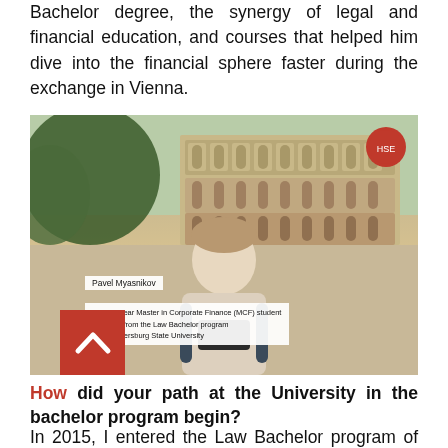Bachelor degree, the synergy of legal and financial education, and courses that helped him dive into the financial sphere faster during the exchange in Vienna.
[Figure (photo): Young man smiling in front of the Colosseum in Rome. Name label reads 'Pavel Myasnikov'. Description label reads 'second-year Master in Corporate Finance (MCF) student alumnus from the Law Bachelor program at St. Petersburg State University'. University logo (red circular emblem) in top right corner. Red arrow box with upward chevron in bottom left corner.]
How did your path at the University in the bachelor program begin?
In 2015, I entered the Law Bachelor program of St.